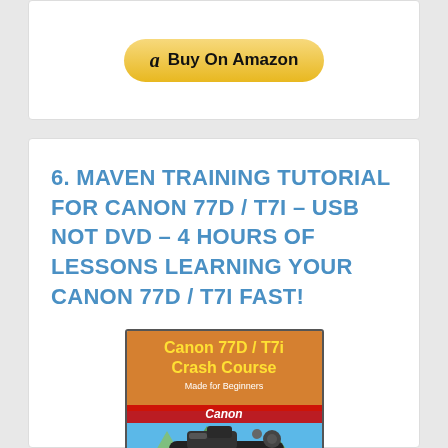[Figure (other): Amazon Buy On Amazon button]
6. MAVEN TRAINING TUTORIAL FOR CANON 77D / T7I – USB NOT DVD – 4 HOURS OF LESSONS LEARNING YOUR CANON 77D / T7I FAST!
[Figure (photo): Canon 77D / T7i Crash Course product image showing a Canon camera on a colorful background with text 'Canon 77D / T7i Crash Course Made for Beginners']